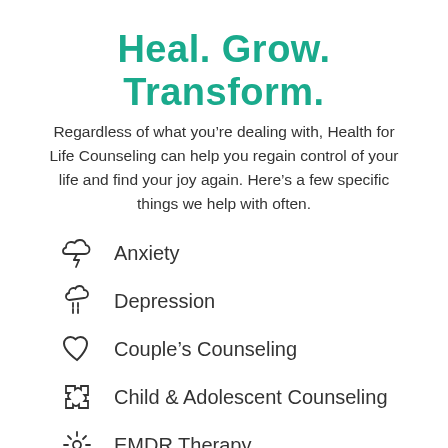Heal. Grow. Transform.
Regardless of what you’re dealing with, Health for Life Counseling can help you regain control of your life and find your joy again. Here’s a few specific things we help with often.
Anxiety
Depression
Couple’s Counseling
Child & Adolescent Counseling
EMDR Therapy
Family Therapy